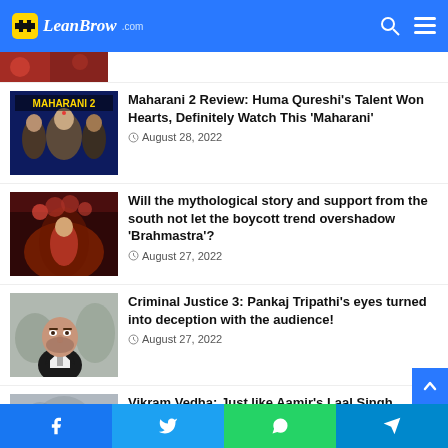LeanBrow.com
[Figure (photo): Partial image of a movie/show at top, cropped]
Maharani 2 Review: Huma Qureshi’s Talent Won Hearts, Definitely Watch This ‘Maharani’ • August 28, 2022
Will the mythological story and support from the south not let the boycott trend overshadow ‘Brahmastra’? • August 27, 2022
Criminal Justice 3: Pankaj Tripathi’s eyes turned into deception with the audience! • August 27, 2022
Vikram Vedha: Just like Aamir’s Laal Singh Chaddha, another new version
Facebook | Twitter | WhatsApp | Telegram